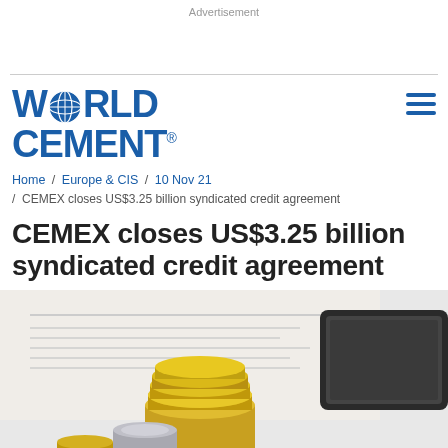Advertisement
[Figure (logo): World Cement magazine logo in bold blue text with globe icon replacing the 'O' in WORLD]
Home / Europe & CIS / 10 Nov 21 / CEMEX closes US$3.25 billion syndicated credit agreement
CEMEX closes US$3.25 billion syndicated credit agreement
[Figure (photo): Photo of stacked gold and silver coins on financial documents, with a tablet device in the background]